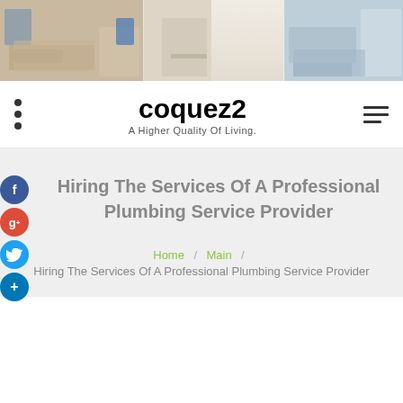[Figure (photo): Header banner with three interior room photos: living room on left, kitchen/dining in middle, bedroom on right]
coquez2
A Higher Quality Of Living.
Hiring The Services Of A Professional Plumbing Service Provider
Home / Main / Hiring The Services Of A Professional Plumbing Service Provider